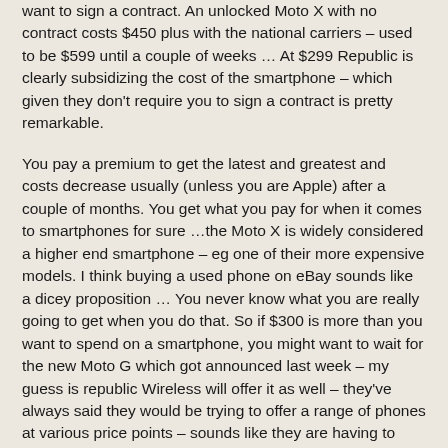want to sign a contract. An unlocked Moto X with no contract costs $450 plus with the national carriers – used to be $599 until a couple of weeks … At $299 Republic is clearly subsidizing the cost of the smartphone – which given they don't require you to sign a contract is pretty remarkable.
You pay a premium to get the latest and greatest and costs decrease usually (unless you are Apple) after a couple of months. You get what you pay for when it comes to smartphones for sure …the Moto X is widely considered a higher end smartphone – eg one of their more expensive models. I think buying a used phone on eBay sounds like a dicey proposition … You never know what you are really going to get when you do that. So if $300 is more than you want to spend on a smartphone, you might want to wait for the new Moto G which got announced last week – my guess is republic Wireless will offer it as well – they've always said they would be trying to offer a range of phones at various price points – sounds like they are having to wait for Motorola to catch up and have the phones ready/certified on a carriers network.
Reply